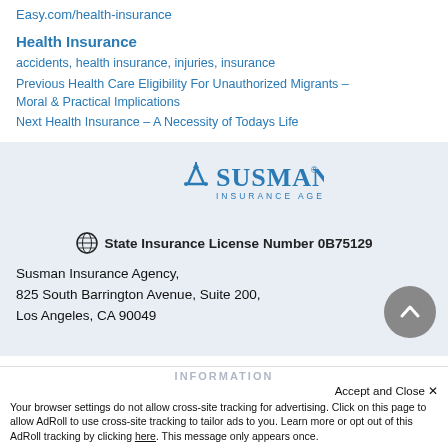Easy.com/health-insurance
Health Insurance
accidents, health insurance, injuries, insurance
Previous Health Care Eligibility For Unauthorized Migrants – Moral & Practical Implications
Next Health Insurance – A Necessity of Todays Life
[Figure (logo): Susman Insurance Agency logo with blue text and mountain/arrow graphic]
State Insurance License Number 0B75129
Susman Insurance Agency,
825 South Barrington Avenue, Suite 200,
Los Angeles, CA 90049
INFORMATION
Accept and Close ✕
Your browser settings do not allow cross-site tracking for advertising. Click on this page to allow AdRoll to use cross-site tracking to tailor ads to you. Learn more or opt out of this AdRoll tracking by clicking here. This message only appears once.